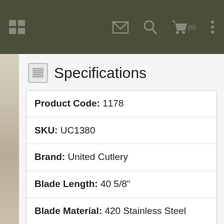Navigation bar with menu, mail, search, cart (0), and more options icons
Specifications
| Product Code: 1178 |
| SKU: UC1380 |
| Brand: United Cutlery |
| Blade Length: 40 5/8" |
| Blade Material: 420 Stainless Steel |
| Class: Decorative |
| Edge Type: False Edged |
| Full Length: 52 7/8" |